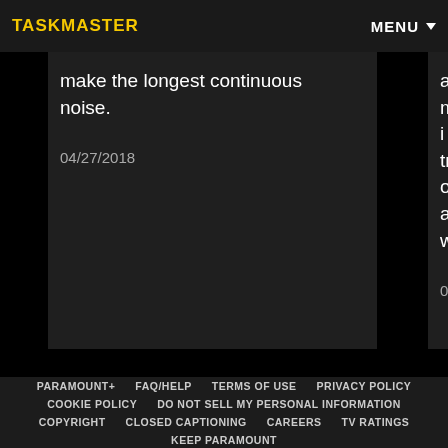TASKMASTER   MENU
make the longest continuous noise.

04/27/2018
actual mayor i transport only another while

05/04/2018
PARAMOUNT+  FAQ/HELP  TERMS OF USE  PRIVACY POLICY  COOKIE POLICY  DO NOT SELL MY PERSONAL INFORMATION  COPYRIGHT  CLOSED CAPTIONING  CAREERS  TV RATINGS  KEEP PARAMOUNT